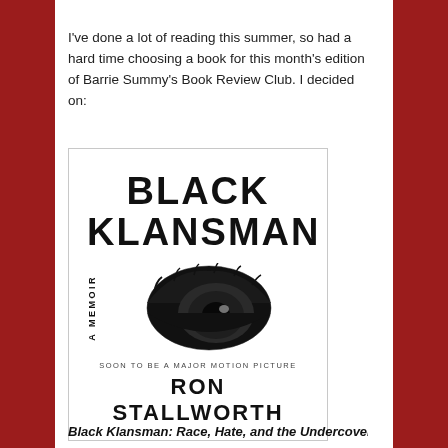I've done a lot of reading this summer, so had a hard time choosing a book for this month's edition of Barrie Summy's Book Review Club. I decided on:
[Figure (photo): Book cover of 'Black Klansman: A Memoir' by Ron Stallworth, featuring large black bold title text, a close-up black and white photograph of a human eye, 'A Memoir' written vertically, and the tagline 'Soon to be a Major Motion Picture']
Black Klansman: Race, Hate, and the Undercover...